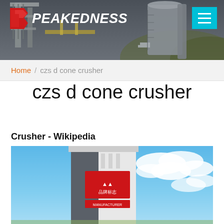[Figure (photo): Peakedness website header banner showing industrial machinery/plant equipment against a dark background, with the Peakedness logo (red P arrow icon and bold white italic text) on the left and a cyan hamburger menu button on the top right.]
Home / czs d cone crusher
czs d cone crusher
Crusher - Wikipedia
[Figure (photo): Photo of a tall industrial building/tower with a red Chinese logo/sign on it, against a blue sky with white clouds.]